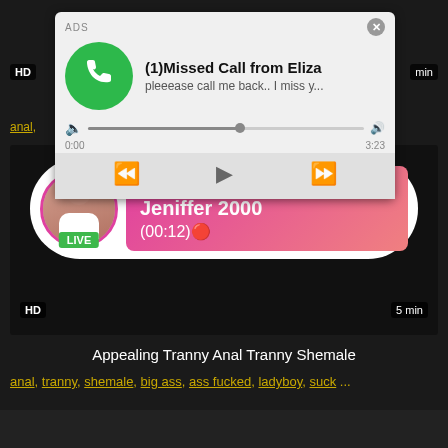[Figure (screenshot): Ad popup showing missed call notification with phone icon, progress bar, and playback controls]
ADS
(1)Missed Call from Eliza
pleeease call me back.. I miss y...
0:00
3:23
HD
min
anal,
[Figure (screenshot): Live notification bubble with avatar, LIVE badge, ADS label, name Jeniffer 2000, time (00:12)]
ADS
Jeniffer 2000
(00:12)🔴
LIVE
HD
5 min
Appealing Tranny Anal Tranny Shemale
anal, tranny, shemale, big ass, ass fucked, ladyboy, suck ...